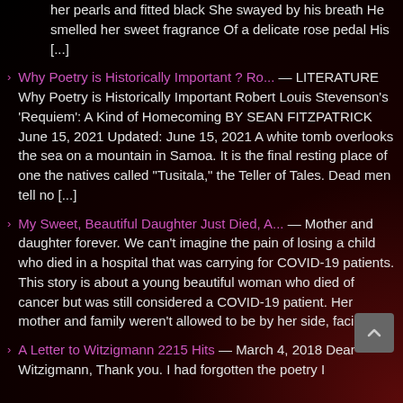her pearls and fitted black She swayed by his breath He smelled her sweet fragrance Of a delicate rose pedal His [...]
Why Poetry is Historically Important ? Ro... — LITERATURE Why Poetry is Historically Important Robert Louis Stevenson's 'Requiem': A Kind of Homecoming BY SEAN FITZPATRICK June 15, 2021 Updated: June 15, 2021 A white tomb overlooks the sea on a mountain in Samoa. It is the final resting place of one the natives called "Tusitala," the Teller of Tales. Dead men tell no [...]
My Sweet, Beautiful Daughter Just Died, A... — Mother and daughter forever. We can't imagine the pain of losing a child who died in a hospital that was carrying for COVID-19 patients. This story is about a young beautiful woman who died of cancer but was still considered a COVID-19 patient. Her mother and family weren't allowed to be by her side, facing [...]
A Letter to Witzigmann 2215 Hits — March 4, 2018 Dear Witzigmann, Thank you. I had forgotten the poetry I